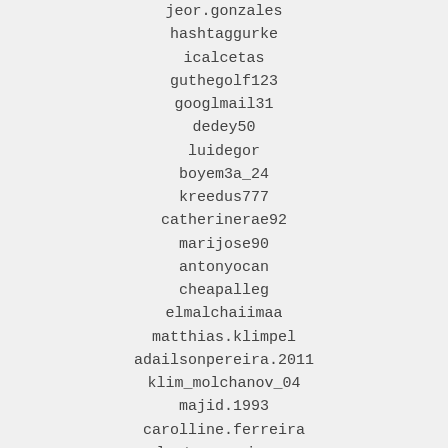jeor.gonzales
hashtaggurke
icalcetas
guthegolf123
googlmail31
dedey50
luidegor
boyem3a_24
kreedus777
catherinerae92
marijose90
antonyocan
cheapalleg
elmalchaiimaa
matthias.klimpel
adailsonpereira.2011
klim_molchanov_04
majid.1993
carolline.ferreira
lost.conscience
geno_logic
fabbi1785
debasish.was.c
coe233368
bhesma1